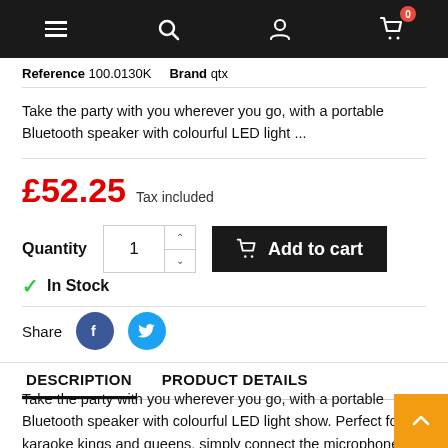Navigation bar with menu, search, account, and cart (0 items)
Reference 100.0130K   Brand qtx
Take the party with you wherever you go, with a portable Bluetooth speaker with colourful LED light ...
£52.25  Tax included
Quantity 1  Add to cart
In Stock
Share
DESCRIPTION   PRODUCT DETAILS
Take the party with you wherever you go, with a portable Bluetooth speaker with colourful LED light show. Perfect for karaoke kings and queens, simply connect the microphone to